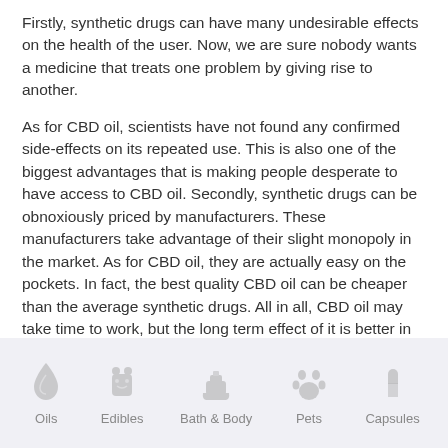Firstly, synthetic drugs can have many undesirable effects on the health of the user. Now, we are sure nobody wants a medicine that treats one problem by giving rise to another.
As for CBD oil, scientists have not found any confirmed side-effects on its repeated use. This is also one of the biggest advantages that is making people desperate to have access to CBD oil. Secondly, synthetic drugs can be obnoxiously priced by manufacturers. These manufacturers take advantage of their slight monopoly in the market. As for CBD oil, they are actually easy on the pockets. In fact, the best quality CBD oil can be cheaper than the average synthetic drugs. All in all, CBD oil may take time to work, but the long term effect of it is better in comparison to synthetic drugs.
[Figure (infographic): Footer navigation bar with five category icons and labels: Oils (drop icon), Edibles (bear icon), Bath & Body (bath icon), Pets (paw print icon), Capsules (pill icon)]